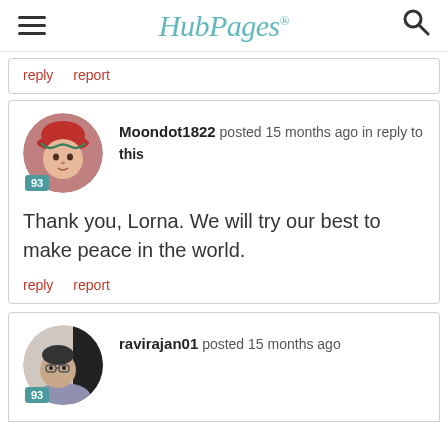HubPages
reply   report
Moondot1822 posted 15 months ago in reply to this
Thank you, Lorna. We will try our best to make peace in the world.
reply   report
ravirajan01 posted 15 months ago